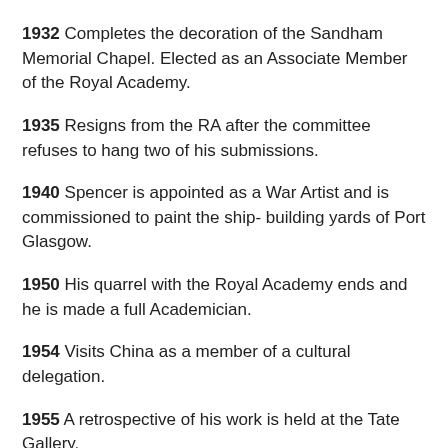1932 Completes the decoration of the Sandham Memorial Chapel. Elected as an Associate Member of the Royal Academy.
1935 Resigns from the RA after the committee refuses to hang two of his submissions.
1940 Spencer is appointed as a War Artist and is commissioned to paint the ship- building yards of Port Glasgow.
1950 His quarrel with the Royal Academy ends and he is made a full Academician.
1954 Visits China as a member of a cultural delegation.
1955 A retrospective of his work is held at the Tate Gallery.
1958 He accepts a knighthood.